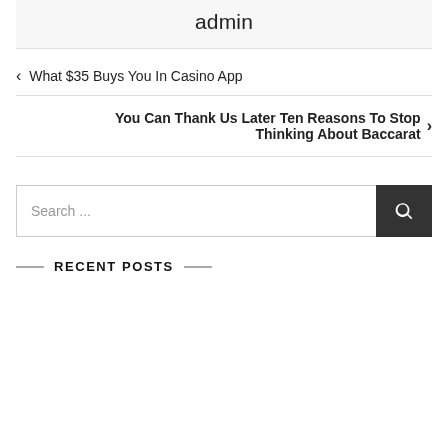admin
< What $35 Buys You In Casino App
You Can Thank Us Later Ten Reasons To Stop Thinking About Baccarat >
Search ...
RECENT POSTS